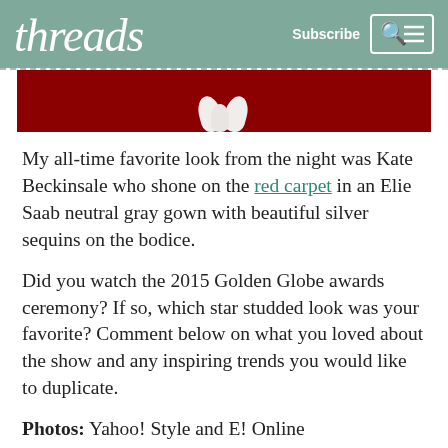threads | Subscribe
[Figure (photo): Partial image of a person on a red carpet, with red background visible, small white floral or bow details at the bottom of the image.]
My all-time favorite look from the night was Kate Beckinsale who shone on the red carpet in an Elie Saab neutral gray gown with beautiful silver sequins on the bodice.
Did you watch the 2015 Golden Globe awards ceremony? If so, which star studded look was your favorite? Comment below on what you loved about the show and any inspiring trends you would like to duplicate.
Photos: Yahoo! Style and E! Online